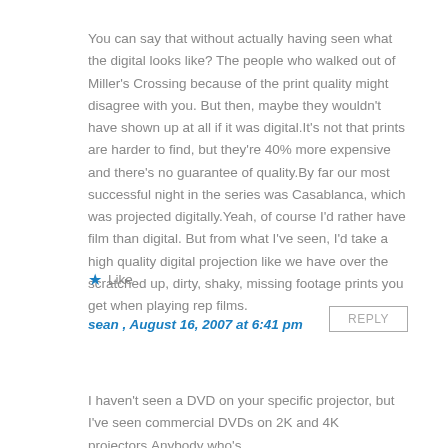You can say that without actually having seen what the digital looks like? The people who walked out of Miller's Crossing because of the print quality might disagree with you. But then, maybe they wouldn't have shown up at all if it was digital.It's not that prints are harder to find, but they're 40% more expensive and there's no guarantee of quality.By far our most successful night in the series was Casablanca, which was projected digitally.Yeah, of course I'd rather have film than digital. But from what I've seen, I'd take a high quality digital projection like we have over the scratched up, dirty, shaky, missing footage prints you get when playing rep films.
★ Like
sean , August 16, 2007 at 6:41 pm
REPLY
I haven't seen a DVD on your specific projector, but I've seen commercial DVDs on 2K and 4K projectors.Anybody who's